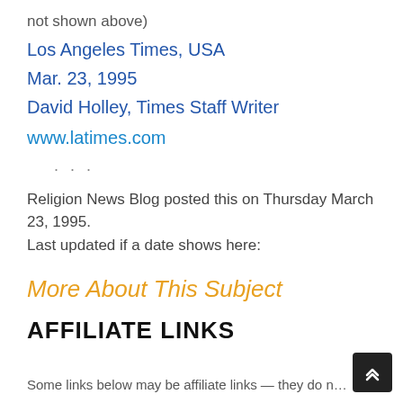not shown above)
Los Angeles Times, USA
Mar. 23, 1995
David Holley, Times Staff Writer
www.latimes.com
· · ·
Religion News Blog posted this on Thursday March 23, 1995.
Last updated if a date shows here:
More About This Subject
AFFILIATE LINKS